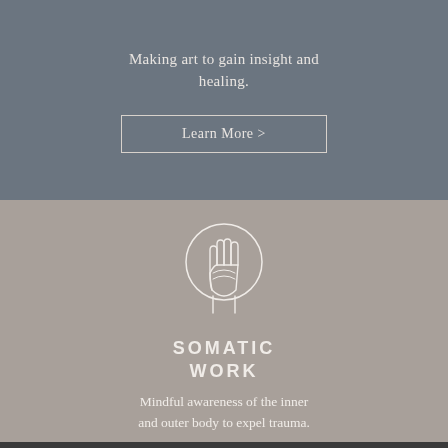Making art to gain insight and healing.
Learn More >
[Figure (illustration): Line-art illustration of a hand inside a circle, representing somatic/body awareness]
SOMATIC WORK
Mindful awareness of the inner and outer body to expel trauma.
Learn More >